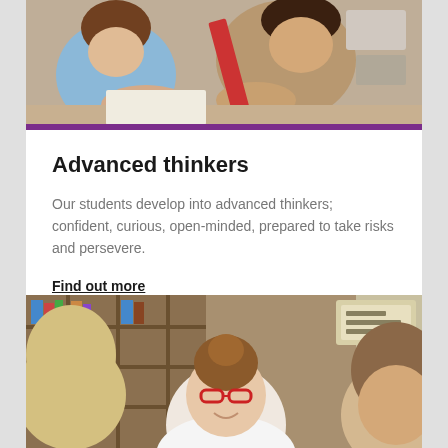[Figure (photo): Students working together at a desk, one wearing a blue shirt, another with animal print top, red ruler visible, writing on paper]
Advanced thinkers
Our students develop into advanced thinkers; confident, curious, open-minded, prepared to take risks and persevere.
Find out more
[Figure (photo): School students smiling and collaborating; central student with red glasses and brown hair in bun, wearing white shirt; bookshelves in background]